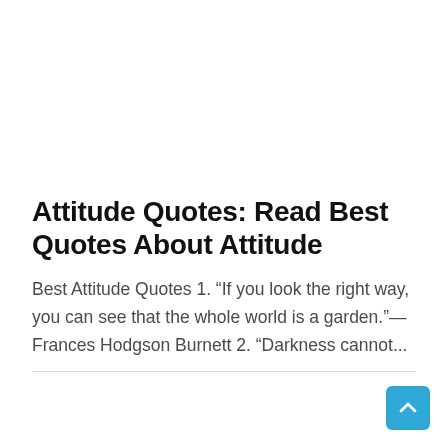Attitude Quotes: Read Best Quotes About Attitude
Best Attitude Quotes 1. “If you look the right way, you can see that the whole world is a garden.”—Frances Hodgson Burnett 2. “Darkness cannot...